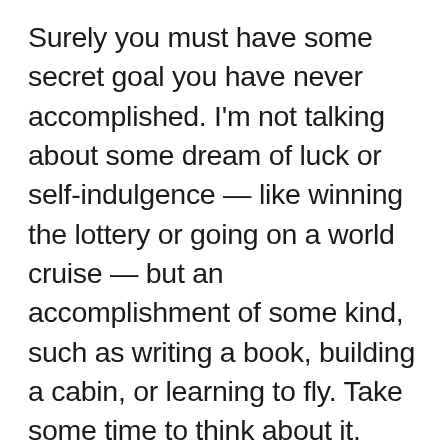Surely you must have some secret goal you have never accomplished. I'm not talking about some dream of luck or self-indulgence — like winning the lottery or going on a world cruise — but an accomplishment of some kind, such as writing a book, building a cabin, or learning to fly. Take some time to think about it. Imagine yourself actually doing it. If it gives you a charge to visualize your dream (even though you may believe it's unrealistic), this is probably something you should do. Be realistic in setting your standards. (I didn't expect to make an award-winning film. I know too much